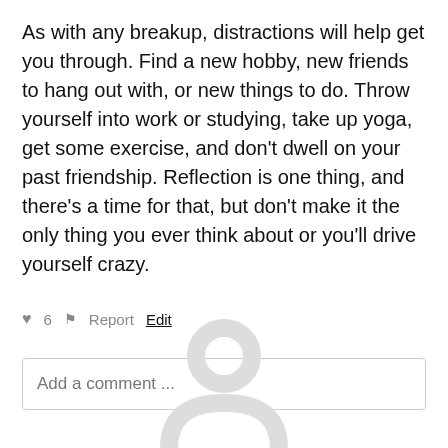As with any breakup, distractions will help get you through. Find a new hobby, new friends to hang out with, or new things to do. Throw yourself into work or studying, take up yoga, get some exercise, and don't dwell on your past friendship. Reflection is one thing, and there's a time for that, but don't make it the only thing you ever think about or you'll drive yourself crazy.
♥ 6  ⚑ Report  Edit
Add a comment ...
[Figure (illustration): A generic user avatar silhouette (head and shoulders outline) in light gray at the bottom center of the page]